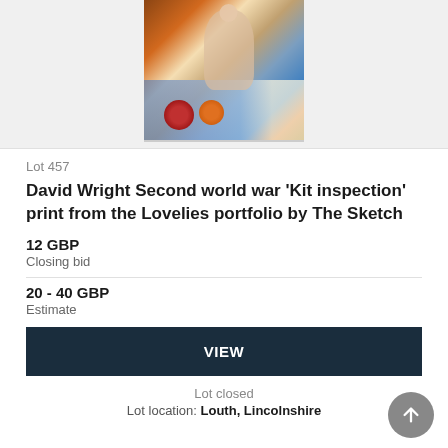[Figure (photo): Painting of a seated nude female figure with colourful drapery and flowers around her, Second World War era art print.]
Lot 457
David Wright Second world war 'Kit inspection' print from the Lovelies portfolio by The Sketch
12 GBP
Closing bid
20 - 40 GBP
Estimate
VIEW
Lot closed
Lot location: Louth, Lincolnshire